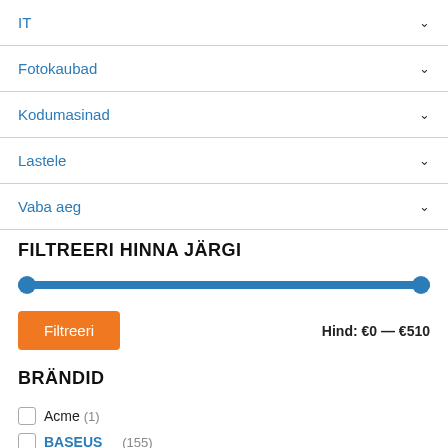IT
Fotokaubad
Kodumasinad
Lastele
Vaba aeg
FILTREERI HINNA JÄRGI
[Figure (other): Price range slider from €0 to €510, shown as a filled blue track with circle handles at both ends]
Filtreeri    Hind: €0 — €510
BRÄNDID
Acme (1)
BASEUS (155)